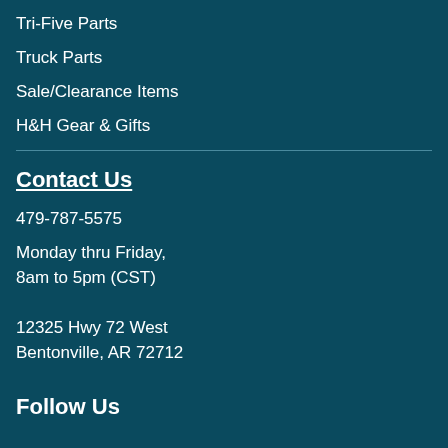Tri-Five Parts
Truck Parts
Sale/Clearance Items
H&H Gear & Gifts
Contact Us
479-787-5575
Monday thru Friday,
8am to 5pm (CST)
12325 Hwy 72 West
Bentonville, AR 72712
Follow Us